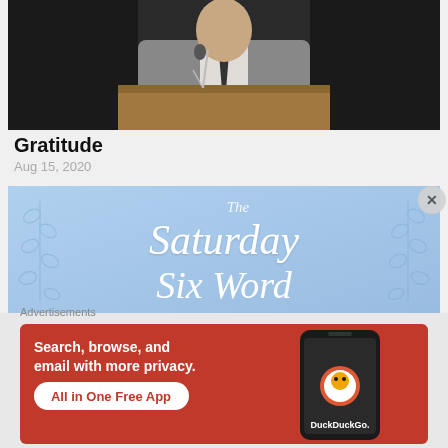[Figure (photo): Person in gray suit standing at a wooden podium with a microphone, cropped to show torso and lower face]
Gratitude
Aug 15, 2020
[Figure (illustration): Light blue banner graphic with white cursive script text reading 'The Saturday Six Word' with decorative leaf/laurel branch illustrations on left and right sides]
Advertisements
[Figure (screenshot): DuckDuckGo advertisement on orange/red background with text 'Search, browse, and email with more privacy. All in One Free App' and a phone showing the DuckDuckGo app]